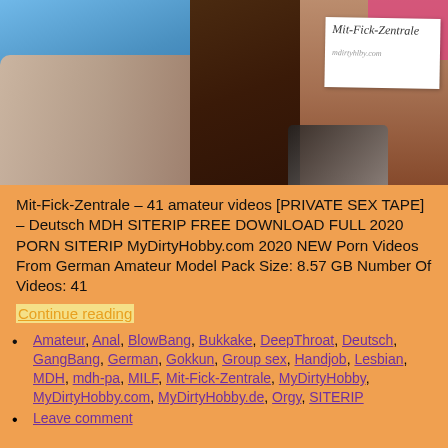[Figure (photo): Two people sitting, one in a blue shirt with arms crossed, another in pink holding a white sign reading 'Mit-Fick-Zentrale']
Mit-Fick-Zentrale – 41 amateur videos [PRIVATE SEX TAPE] – Deutsch MDH SITERIP FREE DOWNLOAD FULL 2020 PORN SITERIP MyDirtyHobby.com 2020 NEW Porn Videos From German Amateur Model Pack Size: 8.57 GB Number Of Videos: 41
Continue reading
Amateur, Anal, BlowBang, Bukkake, DeepThroat, Deutsch, GangBang, German, Gokkun, Group sex, Handjob, Lesbian, MDH, mdh-pa, MILF, Mit-Fick-Zentrale, MyDirtyHobby, MyDirtyHobby.com, MyDirtyHobby.de, Orgy, SITERIP
Leave comment